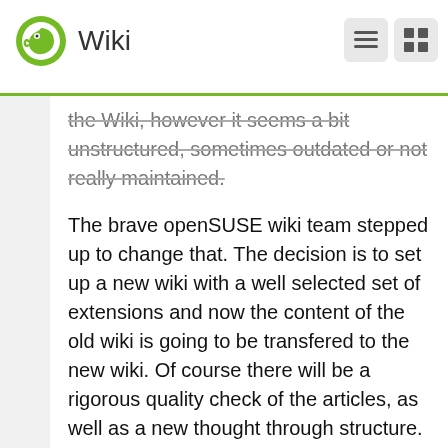Wiki
the Wiki, however it seems a bit unstructured, sometimes outdated or not really maintained.
The brave openSUSE wiki team stepped up to change that. The decision is to set up a new wiki with a well selected set of extensions and now the content of the old wiki is going to be transfered to the new wiki. Of course there will be a rigorous quality check of the articles, as well as a new thought through structure. The goal of this huge amount of work is to provide a outstanding good and well consumable source of information for all people in and interested in the openSUSE project. That is a high goal and I admire the energy and dedication of the wiki team."